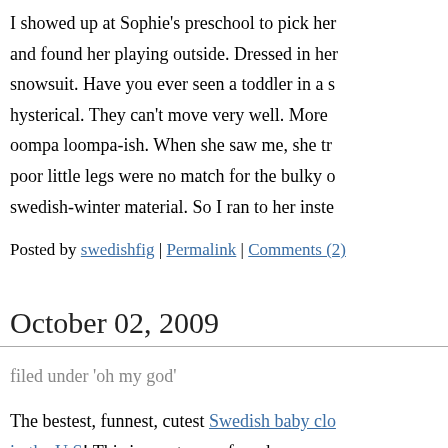I showed up at Sophie's preschool to pick her and found her playing outside. Dressed in her snowsuit. Have you ever seen a toddler in a snowsuit. hysterical. They can't move very well. More oompa loompa-ish. When she saw me, she tried to run poor little legs were no match for the bulky swedish-winter material. So I ran to her inste
Posted by swedishfig | Permalink | Comments (2)
October 02, 2009
filed under 'oh my god'
The bestest, funnest, cutest Swedish baby clothing in the U.S! This is great news for when we move to States. I was wondering how I was going to s
Posted by swedishfig | Permalink | Comments (0)